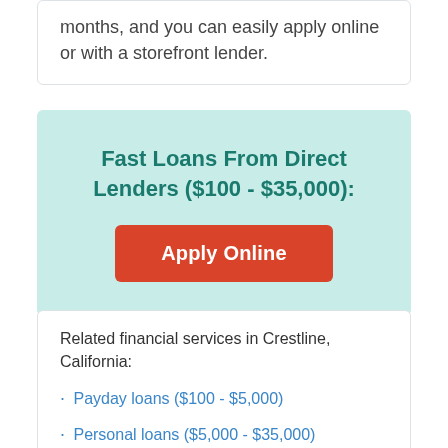months, and you can easily apply online or with a storefront lender.
Fast Loans From Direct Lenders ($100 - $35,000):
Apply Online
Related financial services in Crestline, California:
Payday loans ($100 - $5,000)
Personal loans ($5,000 - $35,000)
Check cashing